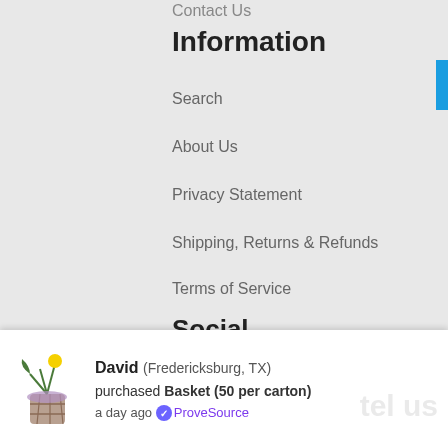Contact Us
Information
Search
About Us
Privacy Statement
Shipping, Returns & Refunds
Terms of Service
Social
[Figure (infographic): Five circular grey social media icons: Twitter, Facebook, Play/YouTube, Pinterest, Email]
[Figure (logo): Pop & Go. Floral Boxes logo in purple decorative font]
David (Fredericksburg, TX) purchased Basket (50 per carton) a day ago ProveSource